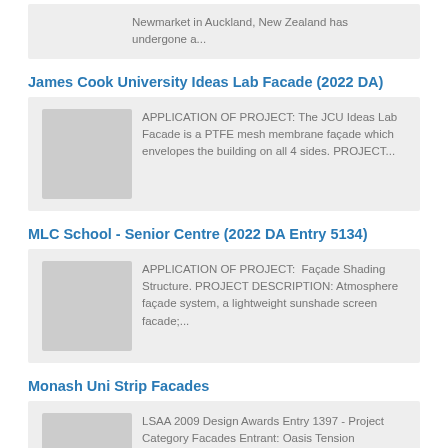Newmarket in Auckland, New Zealand has undergone a...
James Cook University Ideas Lab Facade (2022 DA)
APPLICATION OF PROJECT: The JCU Ideas Lab Facade is a PTFE mesh membrane façade which envelopes the building on all 4 sides. PROJECT...
MLC School - Senior Centre (2022 DA Entry 5134)
APPLICATION OF PROJECT:  Façade Shading Structure. PROJECT DESCRIPTION: Atmosphere façade system, a lightweight sunshade screen facade;...
Monash Uni Strip Facades
LSAA 2009 Design Awards Entry 1397 - Project Category Facades Entrant: Oasis Tension Structures (Australia) Pty LtdLocation: Monash...
Atmosphere Façade